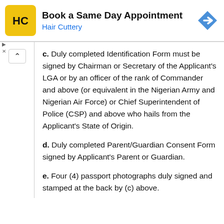[Figure (screenshot): Hair Cuttery advertisement banner: yellow square logo with HC letters, title 'Book a Same Day Appointment', subtitle 'Hair Cuttery' in blue, blue diamond navigation icon on right.]
c. Duly completed Identification Form must be signed by Chairman or Secretary of the Applicant's LGA or by an officer of the rank of Commander and above (or equivalent in the Nigerian Army and Nigerian Air Force) or Chief Superintendent of Police (CSP) and above who hails from the Applicant's State of Origin.
d. Duly completed Parent/Guardian Consent Form signed by Applicant's Parent or Guardian.
e. Four (4) passport photographs duly signed and stamped at the back by (c) above.